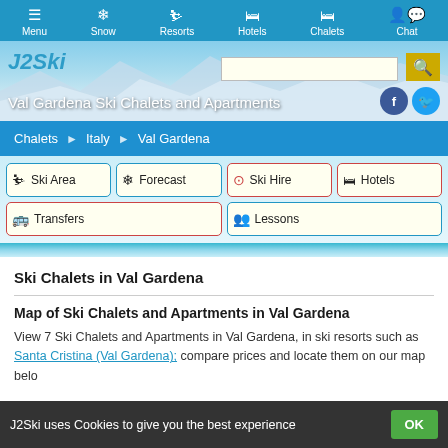Menu  Snow  Resorts  Hotels  Chalets  Chat
Val Gardena Ski Chalets and Apartments
Chalets > Italy > Val Gardena
Ski Area
Forecast
Ski Hire
Hotels
Transfers
Lessons
Ski Chalets in Val Gardena
Map of Ski Chalets and Apartments in Val Gardena
View 7 Ski Chalets and Apartments in Val Gardena, in ski resorts such as Santa Cristina (Val Gardena); compare prices and locate them on our map belo
J2Ski uses Cookies to give you the best experience